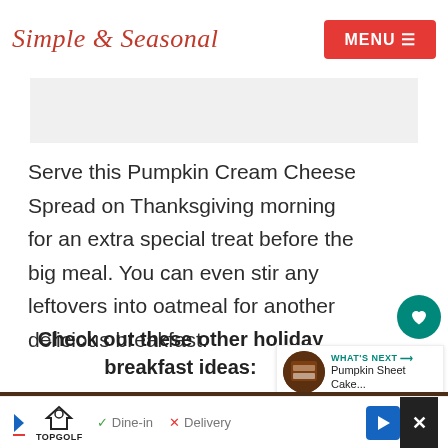Simple & Seasonal — MENU
[Figure (other): Grey advertisement banner placeholder]
Serve this Pumpkin Cream Cheese Spread on Thanksgiving morning for an extra special treat before the big meal. You can even stir any leftovers into oatmeal for another delicious breakfast.
Check out these other holiday breakfast ideas:
[Figure (photo): What's Next panel showing Pumpkin Sheet Cake thumbnail with circular food photo]
[Figure (photo): Food photo at bottom of page showing oatmeal/granola dish]
[Figure (other): Advertisement footer: TopGolf ad with Dine-in, Delivery options and navigation/close buttons]